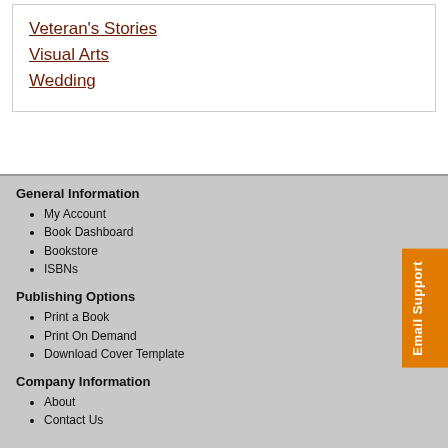Veteran's Stories
Visual Arts
Wedding
General Information
My Account
Book Dashboard
Bookstore
ISBNs
Publishing Options
Print a Book
Print On Demand
Download Cover Template
Company Information
About
Contact Us